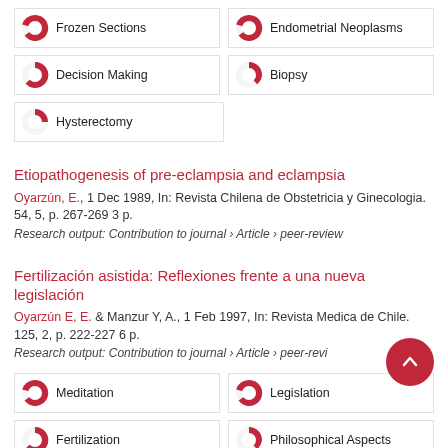[Figure (infographic): Keyword badges row 1: Frozen Sections (100%), Endometrial Neoplasms (100%)]
[Figure (infographic): Keyword badges row 2: Decision Making (~80%), Biopsy (~65%)]
[Figure (infographic): Keyword badge row 3: Hysterectomy (~50%)]
Etiopathogenesis of pre-eclampsia and eclampsia
Oyarzún, E., 1 Dec 1989, In: Revista Chilena de Obstetricia y Ginecologia. 54, 5, p. 267-269 3 p.
Research output: Contribution to journal › Article › peer-review
Fertilización asistida: Reflexiones frente a una nueva legislación
Oyarzún E, E. & Manzur Y, A., 1 Feb 1997, In: Revista Medica de Chile. 125, 2, p. 222-227 6 p.
Research output: Contribution to journal › Article › peer-review
[Figure (infographic): Keyword badges bottom row 1: Meditation (100%), Legislation (100%)]
[Figure (infographic): Keyword badges bottom row 2: Fertilization (~80%), Philosophical Aspects (~55%)]